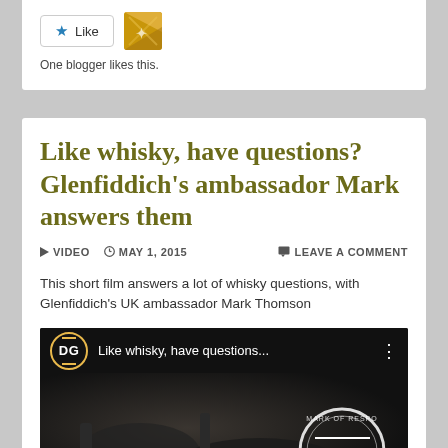[Figure (screenshot): Like button with blue star icon and a blogger avatar thumbnail]
One blogger likes this.
Like whisky, have questions? Glenfiddich's ambassador Mark answers them
VIDEO  MAY 1, 2015  LEAVE A COMMENT
This short film answers a lot of whisky questions, with Glenfiddich's UK ambassador Mark Thomson
[Figure (screenshot): Video thumbnail showing DG logo circle and text 'Like whisky, have questions...' with DRINKS badge at bottom right]